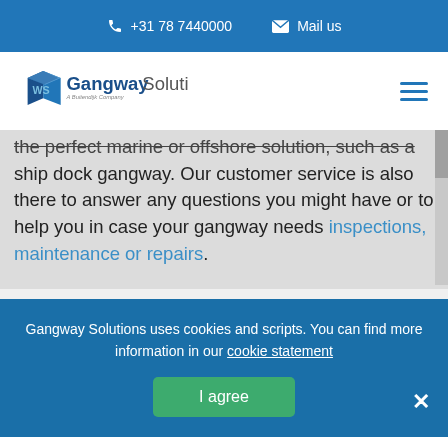+31 78 7440000   Mail us
[Figure (logo): Gangway Solutions - A Buitendijk Company logo with stylized WS cube icon]
the perfect marine or offshore solution, such as a ship dock gangway. Our customer service is also there to answer any questions you might have or to help you in case your gangway needs inspections, maintenance or repairs.
Gangway Solutions uses cookies and scripts. You can find more information in our cookie statement
I agree